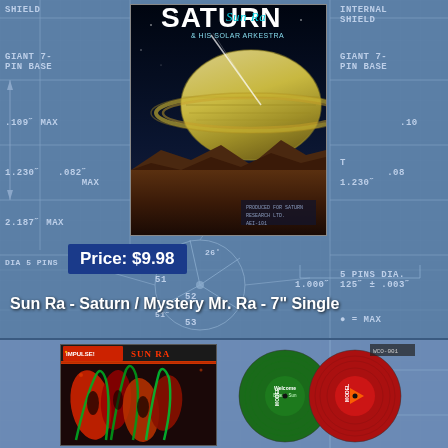[Figure (illustration): Blueprint engineering schematic background with grid lines, dimension annotations, and technical measurements in light blue on blue background]
[Figure (photo): Album cover for Sun Ra & His Solar Arkestra 'Saturn' showing Saturn planet above alien landscape with text 'SATURN Sun Ra & HIS SOLAR ARKESTRA']
Price: $9.98
Sun Ra - Saturn / Mystery Mr. Ra - 7" Single
[Figure (photo): Bottom section showing Sun Ra album cover with colorful abstract artwork and colored vinyl record discs (green and red)]